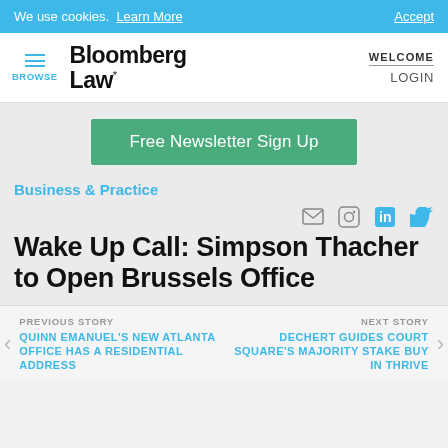We use cookies. Learn More   Accept
[Figure (logo): Bloomberg Law logo with hamburger menu (BROWSE) and WELCOME/LOGIN links]
Free Newsletter Sign Up
Business & Practice
Wake Up Call: Simpson Thacher to Open Brussels Office
PREVIOUS STORY
QUINN EMANUEL'S NEW ATLANTA OFFICE HAS A RESIDENTIAL ADDRESS
NEXT STORY
DECHERT GUIDES COURT SQUARE'S MAJORITY STAKE BUY IN THRIVE